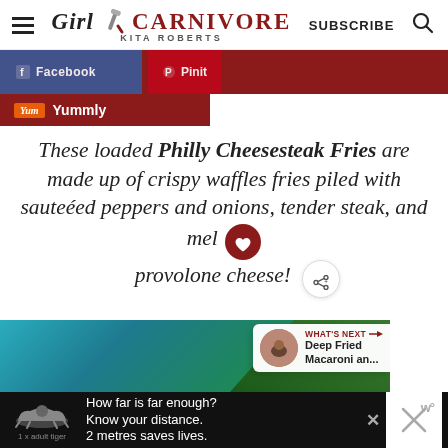Girl Carnivore - Kita Roberts | SUBSCRIBE
[Figure (screenshot): Social share buttons bar: Facebook and Pinterest share buttons in dark red/maroon, and Yummly share button below]
These loaded Philly Cheesesteak Fries are made up of crispy waffles fries piled with sauteéed peppers and onions, tender steak, and melted provolone cheese!
[Figure (photo): Bottom portion of a food photo showing ingredients including fresh green herbs (parsley) against a blue/teal background with a 'What's Next: Deep Fried Macaroni an...' overlay]
[Figure (infographic): Ad banner: tiger illustration with text 'How far is far enough? Know your distance. 2 metres saves lives.' with '1 x adult tiger' label]